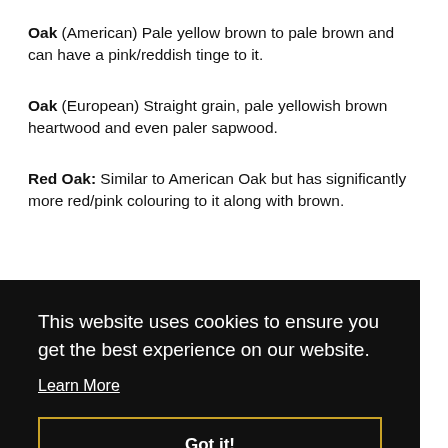Oak (American) Pale yellow brown to pale brown and can have a pink/reddish tinge to it.
Oak (European) Straight grain, pale yellowish brown heartwood and even paler sapwood.
Red Oak: Similar to American Oak but has significantly more red/pink colouring to it along with brown.
[Figure (screenshot): Cookie consent overlay on dark background with text: 'This website uses cookies to ensure you get the best experience on our website. Learn More' and a 'Got it!' button with gold/yellow border.]
...A yellowish yellow... ...with... ...very easily.